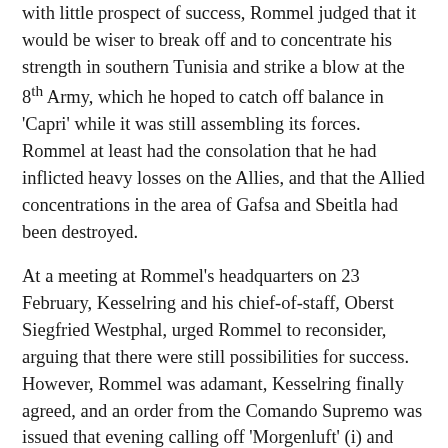with little prospect of success, Rommel judged that it would be wiser to break off and to concentrate his strength in southern Tunisia and strike a blow at the 8th Army, which he hoped to catch off balance in 'Capri' while it was still assembling its forces. Rommel at least had the consolation that he had inflicted heavy losses on the Allies, and that the Allied concentrations in the area of Gafsa and Sbeitla had been destroyed.
At a meeting at Rommel's headquarters on 23 February, Kesselring and his chief-of-staff, Oberst Siegfried Westphal, urged Rommel to reconsider, arguing that there were still possibilities for success. However, Rommel was adamant, Kesselring finally agreed, and an order from the Comando Supremo was issued that evening calling off 'Morgenluft' (i) and directing all Axis units to return to their start positions.
On 23 February a major US air attack on the pass hastened the German retreat, and by late on February 24, the pass had been